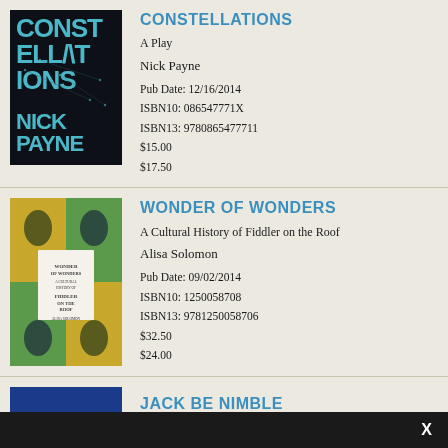[Figure (photo): Book cover of Constellations by Nick Payne, dark background with teal text]
CONSTELLATIONS
A Play
Nick Payne
Pub Date: 12/16/2014
ISBN10: 086547771X
ISBN13: 9780865477711
$15.00
$17.50
[Figure (photo): Book cover of Wonder of Wonders: A Cultural History of Fiddler on the Roof by Alisa Solomon, colorful collage of men celebrating]
WONDER OF WONDERS
A Cultural History of Fiddler on the Roof
Alisa Solomon
Pub Date: 09/02/2014
ISBN10: 1250058708
ISBN13: 9781250058706
$32.50
$24.00
[Figure (photo): Partial book cover of Jack Be Nimble, blue background]
JACK BE NIMBLE